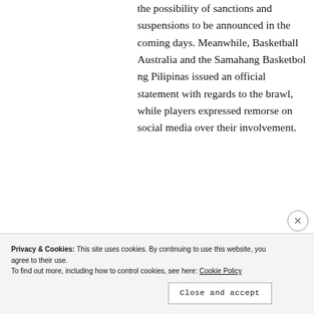the possibility of sanctions and suspensions to be announced in the coming days. Meanwhile, Basketball Australia and the Samahang Basketbol ng Pilipinas issued an official statement with regards to the brawl, while players expressed remorse on social media over their involvement.
[Figure (screenshot): Embedded tweet card from Basketball Australia (@Basketbal...) with verified badge and Twitter bird icon, and a Follow button]
Privacy & Cookies: This site uses cookies. By continuing to use this website, you agree to their use.
To find out more, including how to control cookies, see here: Cookie Policy
Close and accept